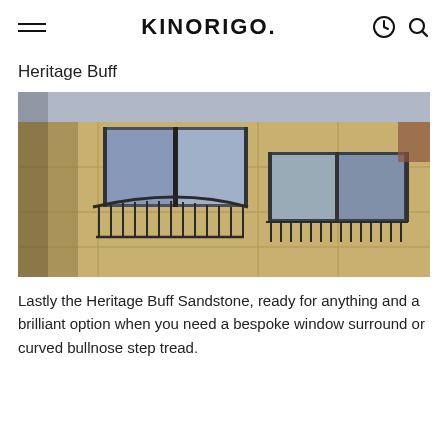KINORIGO.
Heritage Buff
[Figure (photo): Exterior facade of a building clad in Heritage Buff sandstone, showing curved balconies with ornate iron railings and large dark-framed windows.]
Lastly the Heritage Buff Sandstone, ready for anything and a brilliant option when you need a bespoke window surround or curved bullnose step tread.